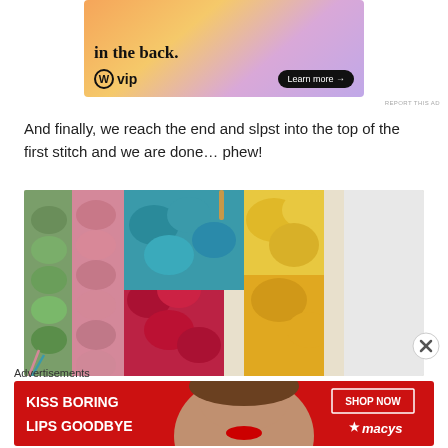[Figure (other): WP VIP advertisement banner with colorful gradient background showing 'in the back.' text and Learn more button]
And finally, we reach the end and slpst into the top of the first stitch and we are done… phew!
[Figure (photo): Close-up photo of a colorful crochet granny square piece showing green, pink, red, teal, and yellow yarn work with a crochet hook visible at top]
Advertisements
[Figure (other): Macy's advertisement banner with red background showing 'KISS BORING LIPS GOODBYE' text with SHOP NOW button and Macy's logo, featuring a woman's face]